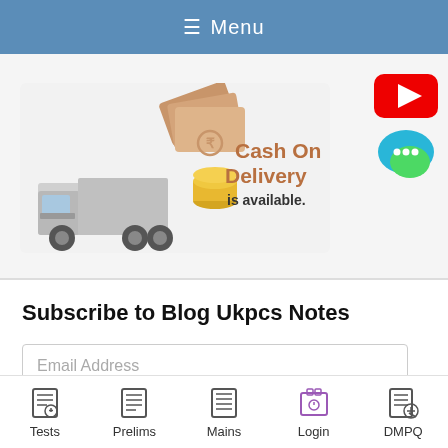≡ Menu
[Figure (screenshot): Cash On Delivery is available - banner with truck carrying money bags and coins, alongside a red YouTube icon and a teal chat bubble icon]
Subscribe to Blog Ukpcs Notes
Email Address
Tests | Prelims | Mains | Login | DMPQ